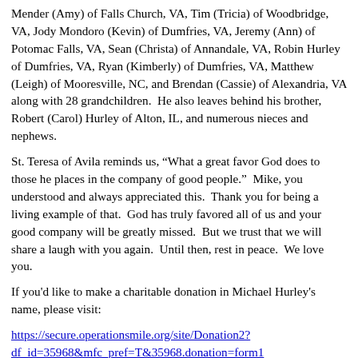Mender (Amy) of Falls Church, VA, Tim (Tricia) of Woodbridge, VA, Jody Mondoro (Kevin) of Dumfries, VA, Jeremy (Ann) of Potomac Falls, VA, Sean (Christa) of Annandale, VA, Robin Hurley of Dumfries, VA, Ryan (Kimberly) of Dumfries, VA, Matthew (Leigh) of Mooresville, NC, and Brendan (Cassie) of Alexandria, VA along with 28 grandchildren.  He also leaves behind his brother, Robert (Carol) Hurley of Alton, IL, and numerous nieces and nephews.
St. Teresa of Avila reminds us, “What a great favor God does to those he places in the company of good people.”  Mike, you understood and always appreciated this.  Thank you for being a living example of that.  God has truly favored all of us and your good company will be greatly missed.  But we trust that we will share a laugh with you again.  Until then, rest in peace.  We love you.
If you'd like to make a charitable donation in Michael Hurley's name, please visit:
https://secure.operationsmile.org/site/Donation2?df_id=35968&mfc_pref=T&35968.donation=form1
Thank you for your generosity.